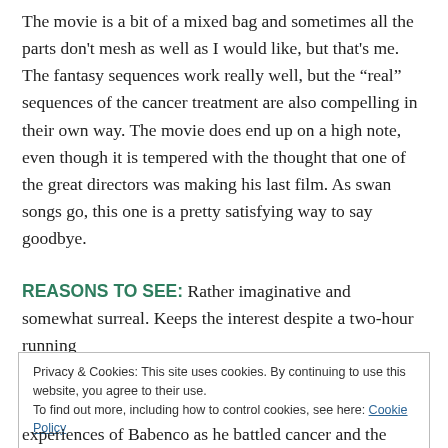The movie is a bit of a mixed bag and sometimes all the parts don't mesh as well as I would like, but that's me. The fantasy sequences work really well, but the “real” sequences of the cancer treatment are also compelling in their own way. The movie does end up on a high note, even though it is tempered with the thought that one of the great directors was making his last film. As swan songs go, this one is a pretty satisfying way to say goodbye.
REASONS TO SEE: Rather imaginative and somewhat surreal. Keeps the interest despite a two-hour running
Privacy & Cookies: This site uses cookies. By continuing to use this website, you agree to their use.
To find out more, including how to control cookies, see here: Cookie Policy
experiences of Babenco as he battled cancer and the